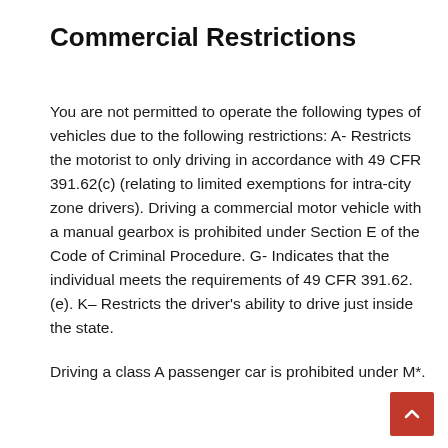Commercial Restrictions
You are not permitted to operate the following types of vehicles due to the following restrictions: A- Restricts the motorist to only driving in accordance with 49 CFR 391.62(c) (relating to limited exemptions for intra-city zone drivers). Driving a commercial motor vehicle with a manual gearbox is prohibited under Section E of the Code of Criminal Procedure. G- Indicates that the individual meets the requirements of 49 CFR 391.62. (e). K– Restricts the driver's ability to drive just inside the state.
Driving a class A passenger car is prohibited under M*.